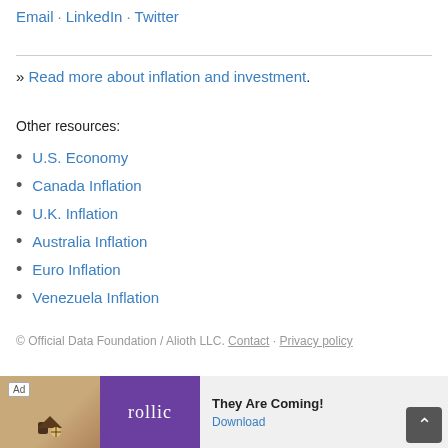Email · LinkedIn · Twitter
» Read more about inflation and investment.
Other resources:
U.S. Economy
Canada Inflation
U.K. Inflation
Australia Inflation
Euro Inflation
Venezuela Inflation
© Official Data Foundation / Alioth LLC. Contact · Privacy policy
AN ELITE CAFEMEDIA FINANCE PUBLISHER